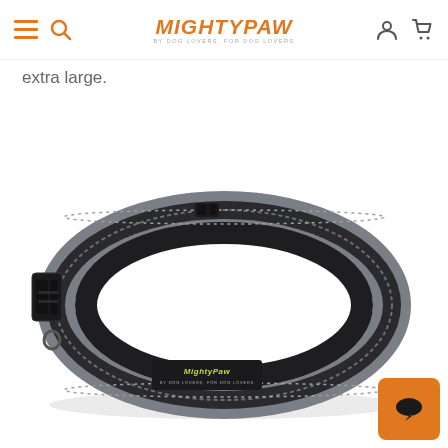MightyPaw - BY DOG LOVERS, FOR DOG LOVERS
extra large.
[Figure (photo): A gray padded dog collar with reflective nylon webbing and black buckle hardware. The collar has a MightyPaw branded label on the front.]
[Figure (other): Orange chat bubble widget icon in the bottom right corner]